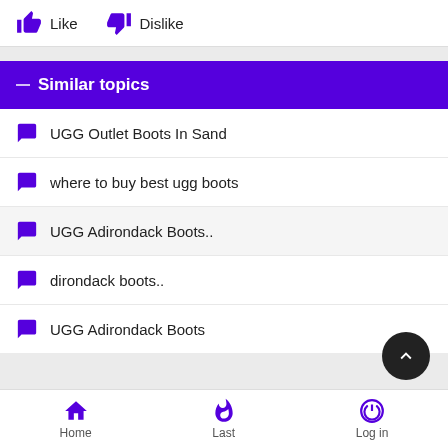[Figure (screenshot): Like and Dislike buttons with thumbs up and thumbs down icons]
Similar topics
UGG Outlet Boots In Sand
where to buy best ugg boots
UGG Adirondack Boots..
dirondack boots..
UGG Adirondack Boots
Home  Last  Log in